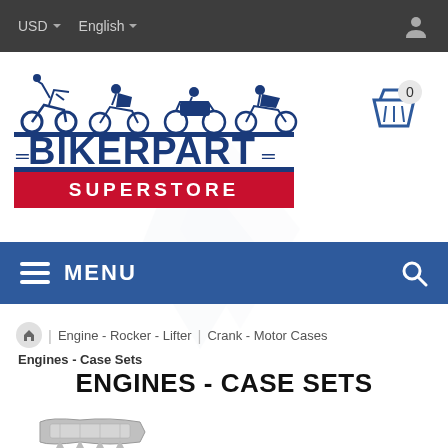USD  English
[Figure (logo): BikerPart Superstore logo with motorcycle silhouettes]
[Figure (illustration): Shopping cart icon with badge showing 0]
≡  MENU
Engine - Rocker - Lifter  |  Crank - Motor Cases  |  Engines - Case Sets
ENGINES - CASE SETS
[Figure (photo): Engine case set product thumbnail image]